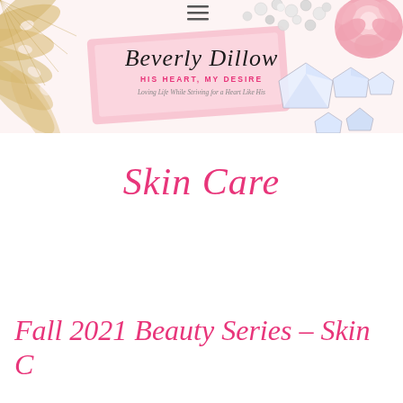[Figure (illustration): Blog header banner with decorative gold fan/lace pattern on left, pink roses top right, crystal gems bottom right, pearl beads scattered, pink envelope card center, and blog branding text overlay]
Skin Care
Fall 2021 Beauty Series – Skin Care